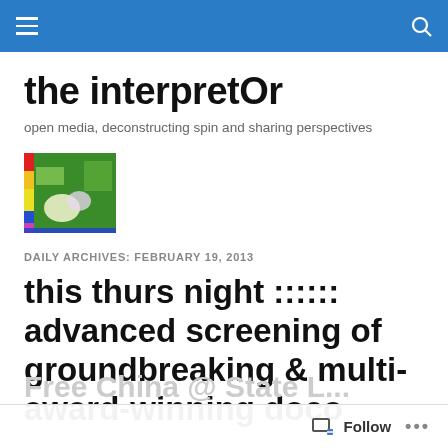the interpretOr navigation bar
the interpretOr
open media, deconstructing spin and sharing perspectives
[Figure (illustration): Small colorful thumbnail image with green, red, yellow, blue and pink abstract colors]
DAILY ARCHIVES: FEBRUARY 19, 2013
this thurs night :::::: advanced screening of groundbreaking & multi-award-winning doco
Free China @ State L... Follow ...